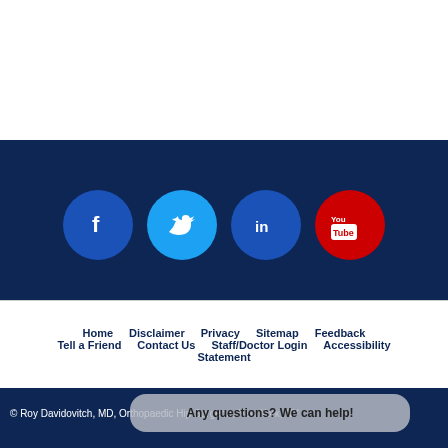[Figure (illustration): Dark blue banner with four social media icons: Facebook (blue circle with f), Twitter (light blue circle with bird), LinkedIn (dark blue circle with in), YouTube (red circle with YouTube play logo)]
Home   Disclaimer   Privacy   Sitemap   Feedback   Tell a Friend   Contact Us   Staff/Doctor Login   Accessibility   Statement
© Roy Davidovitch, MD, Orthopaedic Hip Surgeon, New York, NY
Any questions? We can help!
Dr Roy Davidovitch, Hip Surgeon, New York, NY
[Figure (logo): Powered by Your Practice Online logo with red vertical bar accent]